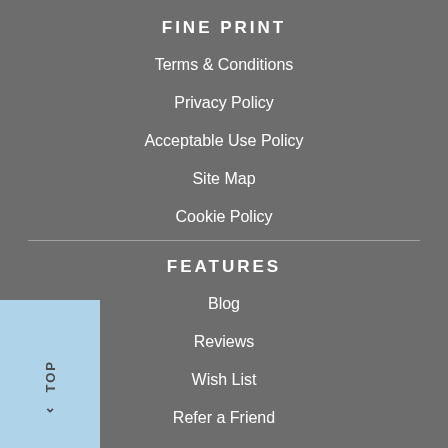FINE PRINT
Terms & Conditions
Privacy Policy
Acceptable Use Policy
Site Map
Cookie Policy
FEATURES
Blog
Reviews
Wish List
Refer a Friend
Measuring From Home
Book An Appointment